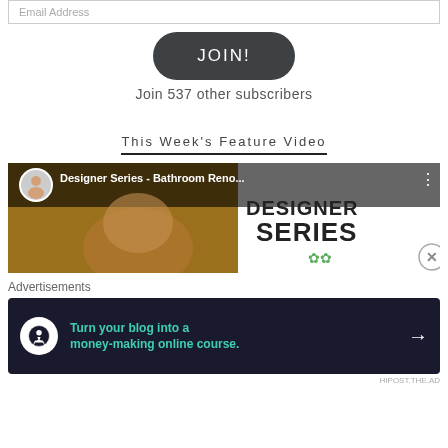Email Address
JOIN!
Join 537 other subscribers
This Week's Feature Video
[Figure (screenshot): YouTube-style video thumbnail for 'Designer Series - Bathroom Reno' with channel avatar, video title bar overlay, and DESIGNER SERIES text on white panel with green leaf decoration]
Advertisements
[Figure (infographic): Dark navy ad banner: 'Turn your blog into a money-making online course.' with white person/tree icon and arrow]